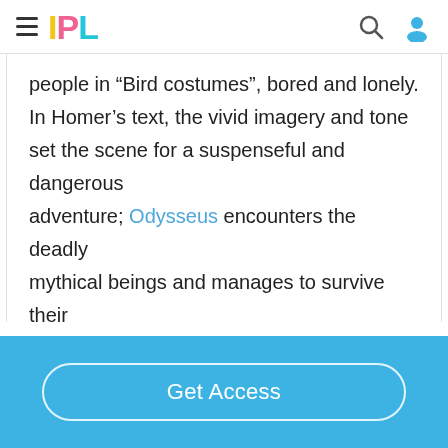IPL
people in “Bird costumes”, bored and lonely. In Homer’s text, the vivid imagery and tone set the scene for a suspenseful and dangerous adventure; Odysseus encounters the deadly mythical beings and manages to survive their horrible song. Homer sets the scene with a dark and serious tone,…show more content…
In Margaret Atwood’s depiction of the Sirens
Get Access